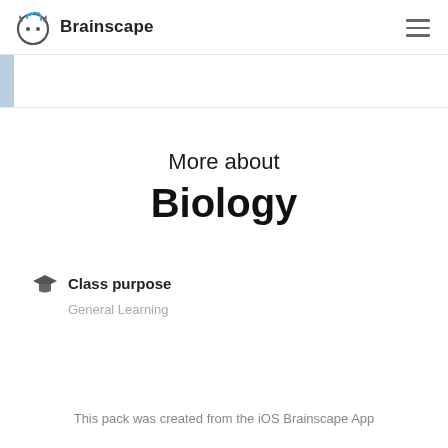Brainscape
More about Biology
Class purpose
General Learning
This pack was created from the iOS Brainscape App